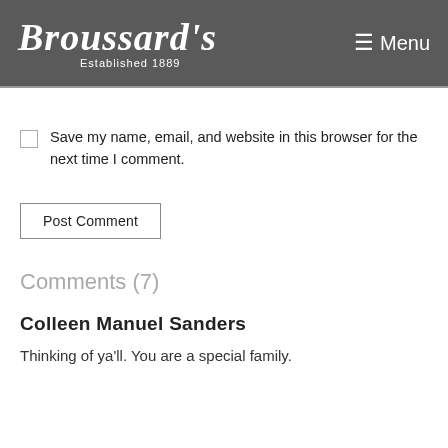Broussards Established 1889 | Menu
Save my name, email, and website in this browser for the next time I comment.
Post Comment
Comments (7)
Colleen Manuel Sanders
Thinking of ya'll. You are a special family.